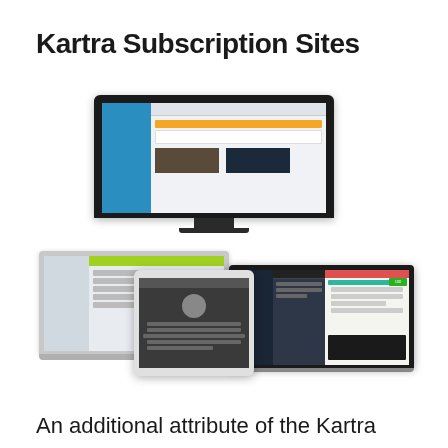Kartra Subscription Sites
[Figure (screenshot): Multiple device mockups (desktop monitor, laptop, tablet, and thin laptop/MacBook) showing the Kartra platform interface with subscription site management screens]
An additional attribute of the Kartra